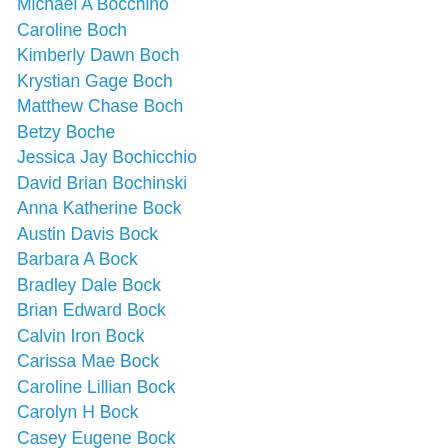Michael A Bocchino
Caroline Boch
Kimberly Dawn Boch
Krystian Gage Boch
Matthew Chase Boch
Betzy Boche
Jessica Jay Bochicchio
David Brian Bochinski
Anna Katherine Bock
Austin Davis Bock
Barbara A Bock
Bradley Dale Bock
Brian Edward Bock
Calvin Iron Bock
Carissa Mae Bock
Caroline Lillian Bock
Carolyn H Bock
Casey Eugene Bock